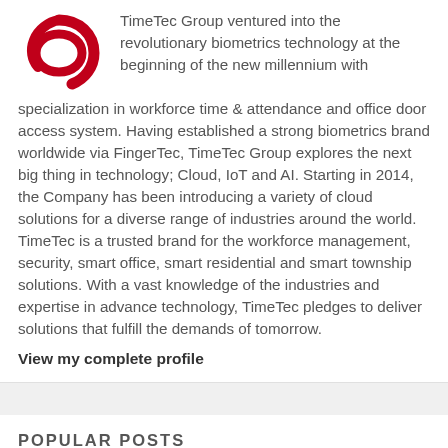[Figure (logo): TimeTec/FingerTec red swirl logo]
TimeTec Group ventured into the revolutionary biometrics technology at the beginning of the new millennium with specialization in workforce time & attendance and office door access system. Having established a strong biometrics brand worldwide via FingerTec, TimeTec Group explores the next big thing in technology; Cloud, IoT and AI. Starting in 2014, the Company has been introducing a variety of cloud solutions for a diverse range of industries around the world. TimeTec is a trusted brand for the workforce management, security, smart office, smart residential and smart township solutions. With a vast knowledge of the industries and expertise in advance technology, TimeTec pledges to deliver solutions that fulfill the demands of tomorrow.
View my complete profile
POPULAR POSTS